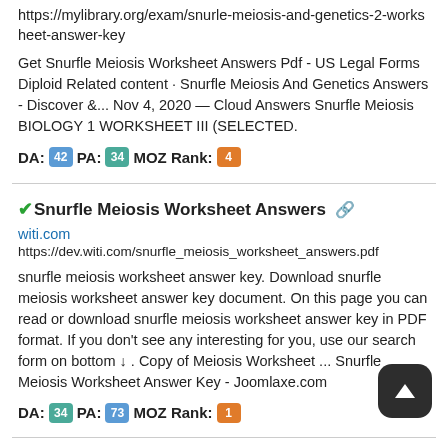https://mylibrary.org/exam/snurle-meiosis-and-genetics-2-worksheet-answer-key
Get Snurfle Meiosis Worksheet Answers Pdf - US Legal Forms Diploid Related content · Snurfle Meiosis And Genetics Answers - Discover &... Nov 4, 2020 — Cloud Answers Snurfle Meiosis BIOLOGY 1 WORKSHEET III (SELECTED.
DA: 42 PA: 34 MOZ Rank: 4
Snurfle Meiosis Worksheet Answers
witi.com
https://dev.witi.com/snurfle_meiosis_worksheet_answers.pdf
snurfle meiosis worksheet answer key. Download snurfle meiosis worksheet answer key document. On this page you can read or download snurfle meiosis worksheet answer key in PDF format. If you don't see any interesting for you, use our search form on bottom ↓ . Copy of Meiosis Worksheet ... Snurfle Meiosis Worksheet Answer Key - Joomlaxe.com
DA: 34 PA: 73 MOZ Rank: 1